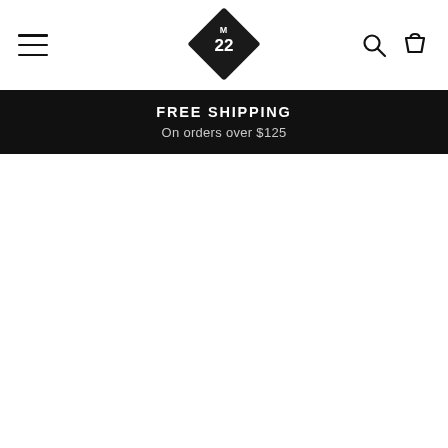[Figure (logo): M22 diamond logo — black square rotated 45 degrees with 'M' at top and '22' in center, white text on black background]
FREE SHIPPING
On orders over $125